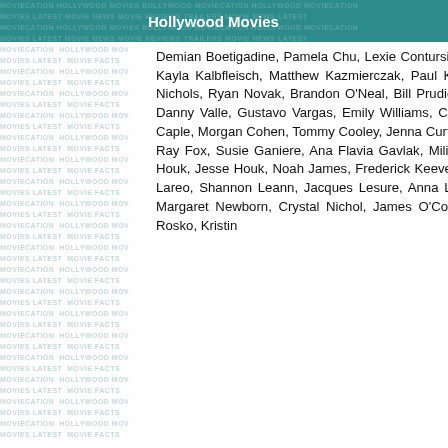Hollywood Movies
Demian Boetigadine, Pamela Chu, Lexie Contursi, Mallauri Esquibel, Michael Higgins, Tara Nicole Hughes, Chris Jarosz, Kayla Kalbfleisch, Matthew Kazmierczak, Paul Kirkland, Megan Lawson, Anthony Marciona, Michael Munday, Martha Nichols, Ryan Novak, Brandon O'Neal, Bill Prudich, Eartha Robinson, Robert Roldan, Julie Schmid, Chelsea Thedinga, Danny Valle, Gustavo Vargas, Emily Williams, Christopher Aber, Melvin LaThomas Brimm, Cameron Brinkman, Ashley Caple, Morgan Cohen, Tommy Cooley, Jenna Curtis, Vince Donvito, Steffen Dziczek, Kristin Elliott, Amanda Fields, Jordan Ray Fox, Susie Ganiere, Ana Flavia Gavlak, Milica Govich, Destinee Handly, Darrell Keith Harris, Courtney Hart, Holly Houk, Jesse Houk, Noah James, Frederick Keeve, Kelly Kennedy, Trent Kerpsack, David Kieran, Shannon Klein, Andrea Lareo, Shannon Leann, Jacques Lesure, Anna Lunberry, Hemky Madera, April Martucci, Lynn Moore, Kaye L. Morris, Margaret Newborn, Crystal Nichol, James O'Connor, Tommy Otis, Andres Perez-Molina, Clarence Robinson, Sandra Rosko, Kristin